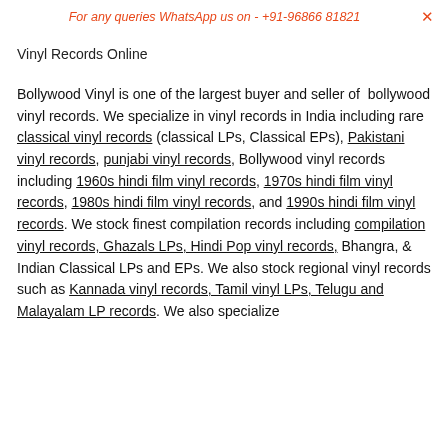For any queries WhatsApp us on - +91-96866 81821  ×
Vinyl Records Online
Bollywood Vinyl is one of the largest buyer and seller of bollywood vinyl records. We specialize in vinyl records in India including rare classical vinyl records (classical LPs, Classical EPs), Pakistani vinyl records, punjabi vinyl records, Bollywood vinyl records including 1960s hindi film vinyl records, 1970s hindi film vinyl records, 1980s hindi film vinyl records, and 1990s hindi film vinyl records. We stock finest compilation records including compilation vinyl records, Ghazals LPs, Hindi Pop vinyl records, Bhangra, & Indian Classical LPs and EPs. We also stock regional vinyl records such as Kannada vinyl records, Tamil vinyl LPs, Telugu and Malayalam LP records. We also specialize